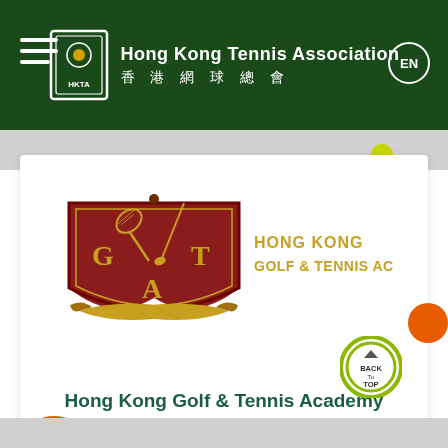[Figure (screenshot): Hong Kong Tennis Association website header with logo, association name in English and Chinese, hamburger menu icon, and EN language button on dark green background.]
[Figure (logo): Hong Kong Golf & Tennis Academy crest logo with crossed tennis racket and golf club on a red shield, with scrollwork banner, and text 'HONG KONG GOLF & TENNIS ACADEMY' in gold.]
Hong Kong Golf & Tennis Academy